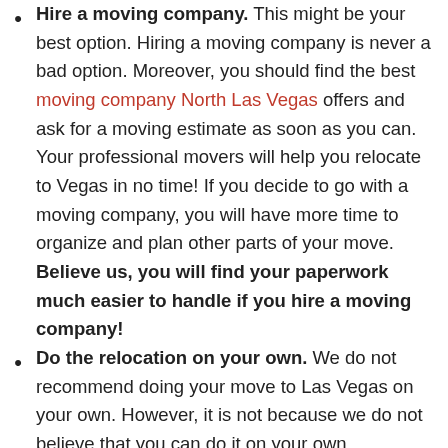Hire a moving company. This might be your best option. Hiring a moving company is never a bad option. Moreover, you should find the best moving company North Las Vegas offers and ask for a moving estimate as soon as you can. Your professional movers will help you relocate to Vegas in no time! If you decide to go with a moving company, you will have more time to organize and plan other parts of your move. Believe us, you will find your paperwork much easier to handle if you hire a moving company!
Do the relocation on your own. We do not recommend doing your move to Las Vegas on your own. However, it is not because we do not believe that you can do it on your own.